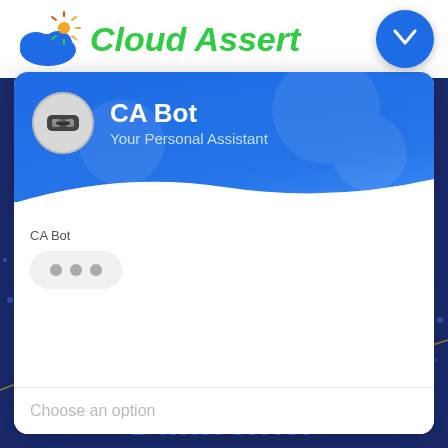[Figure (screenshot): Cloud Assert chatbot UI screenshot showing CA Bot - Your Personal Assistant chat widget with a blue header, robot icon, typing indicator with three dots, and a 'Choose an option' input bar at the bottom. The Cloud Assert logo appears at the top left.]
Cloud Assert
CA Bot
Your Personal Assistant
CA Bot
Choose an option
Datacenter